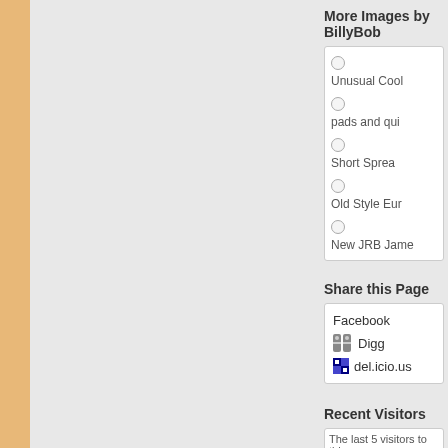More Images by BillyBob
Unusual Cool
pads and qui
Short Sprea
Old Style Eur
New JRB Jame
Share this Page
Facebook
Digg
del.icio.us
Recent Visitors
The last 5 visitors to thi